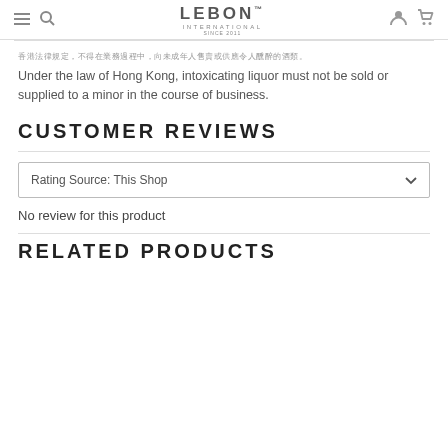LEBON INTERNATIONAL SINCE 2011
香港法律規定，不得在業務過程中，向未成年人售賣或供應令人醺醉的酒類。
Under the law of Hong Kong, intoxicating liquor must not be sold or supplied to a minor in the course of business.
CUSTOMER REVIEWS
Rating Source: This Shop
No review for this product
RELATED PRODUCTS